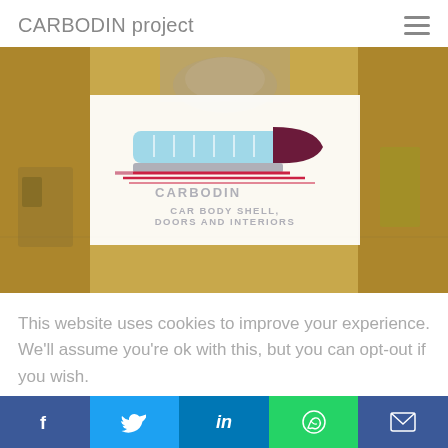CARBODIN project
[Figure (logo): CARBODIN project logo — stylized train illustration with text 'CARBODIN CAR BODY SHELL, DOORS AND INTERIORS' on a white box, set against an industrial background photo of a rail manufacturing facility]
This website uses cookies to improve your experience. We'll assume you're ok with this, but you can opt-out if you wish.
Accept
Read More
f  Twitter  in  WhatsApp  Email